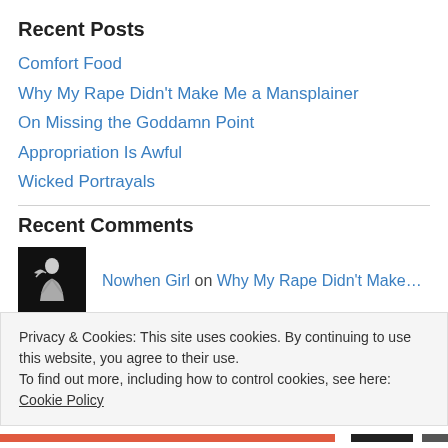Recent Posts
Comfort Food
Why My Rape Didn't Make Me a Mansplainer
On Missing the Goddamn Point
Appropriation Is Awful
Wicked Portrayals
Recent Comments
Nowhen Girl on Why My Rape Didn't Make…
Privacy & Cookies: This site uses cookies. By continuing to use this website, you agree to their use.
To find out more, including how to control cookies, see here: Cookie Policy
Close and accept